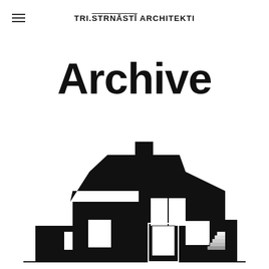TRI.ŠTRNĀSTĪ ARCHITEKTI
Archive
[Figure (illustration): Minimalist black architectural elevation drawing of a two-storey house with a chimney, flat roof sections, windows, and a staircase entry, rendered in black silhouette on white background with a ground line.]